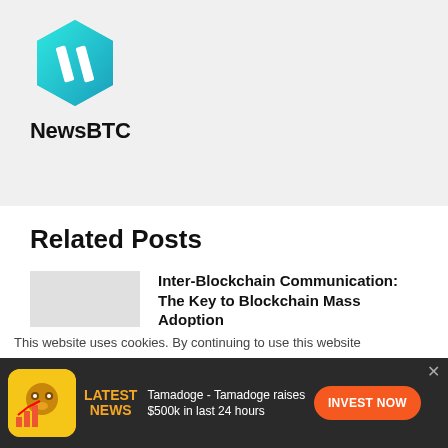[Figure (logo): NewsBTC teal hexagon logo with white N slash mark]
NewsBTC
Related Posts
[Figure (photo): Thumbnail image placeholder for Inter-Blockchain Communication post]
Inter-Blockchain Communication: The Key to Blockchain Mass Adoption
2 days ago
[Figure (photo): Thumbnail image placeholder for Luxury Life For Crypto post]
Luxury Life For Crypto – Puerto Rico
This website uses cookies. By continuing to use this website
Tamadoge - Tamadoge raises $500k in last 24 hours
LATEST NEWS
INVEST NOW